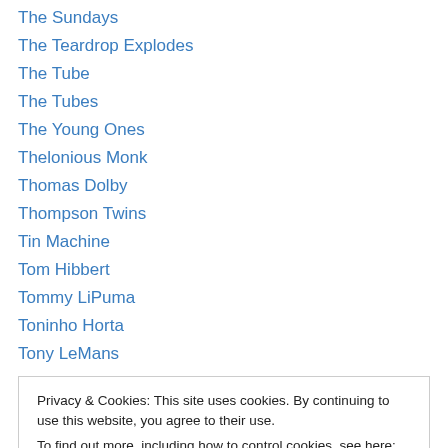The Sundays
The Teardrop Explodes
The Tube
The Tubes
The Young Ones
Thelonious Monk
Thomas Dolby
Thompson Twins
Tin Machine
Tom Hibbert
Tommy LiPuma
Toninho Horta
Tony LeMans
Privacy & Cookies: This site uses cookies. By continuing to use this website, you agree to their use. To find out more, including how to control cookies, see here: Cookie Policy
Up Yaws